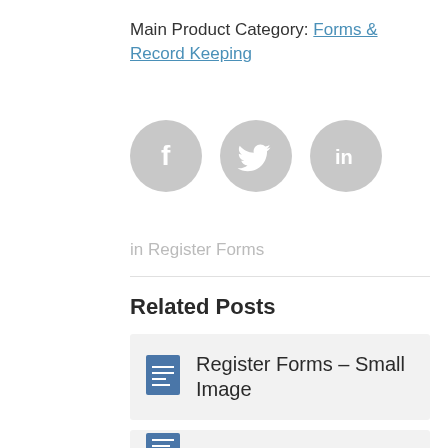Main Product Category: Forms & Record Keeping
[Figure (other): Three social media share buttons: Facebook (f), Twitter (bird icon), LinkedIn (in) — all light grey circles with white icons]
in Register Forms
Related Posts
Register Forms – Small Image
(partially visible second related post card)